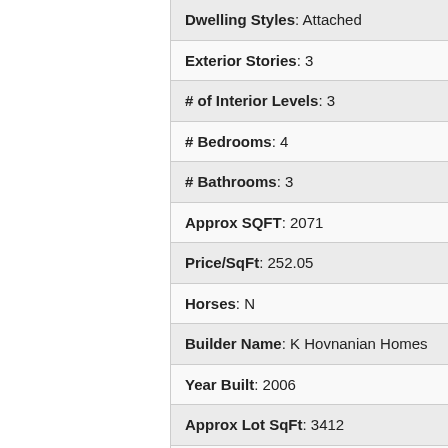| Dwelling Styles: Attached |
| Exterior Stories: 3 |
| # of Interior Levels: 3 |
| # Bedrooms: 4 |
| # Bathrooms: 3 |
| Approx SQFT: 2071 |
| Price/SqFt: 252.05 |
| Horses: N |
| Builder Name: K Hovnanian Homes |
| Year Built: 2006 |
| Approx Lot SqFt: 3412 |
| Approx Lot Acres: 0.078 |
| Flood Zone: No |
| Pool: Community Only |